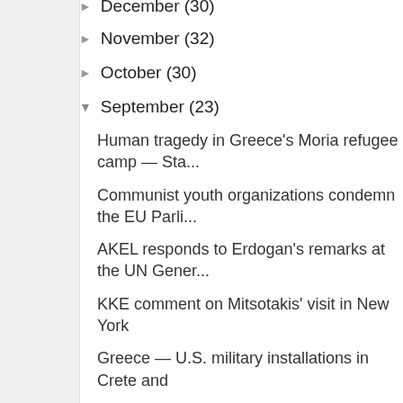December (30)
November (32)
October (30)
September (23)
Human tragedy in Greece's Moria refugee camp — Sta...
Communist youth organizations condemn the EU Parli...
AKEL responds to Erdogan's remarks at the UN Gener...
KKE comment on Mitsotakis' visit in New York
Greece — U.S. military installations in Crete and